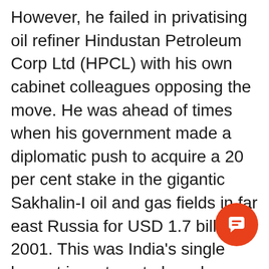However, he failed in privatising oil refiner Hindustan Petroleum Corp Ltd (HPCL) with his own cabinet colleagues opposing the move. He was ahead of times when his government made a diplomatic push to acquire a 20 per cent stake in the gigantic Sakhalin-I oil and gas fields in far east Russia for USD 1.7 billion in 2001. This was India's single largest investment abroad.
This was followed up with a 25 per cent stake in an oilfield in Sudan for USD 720 million. The decisions were criticised for the making such huge investments in countries but Vajpayee was proven right when even the Sudan project recouped